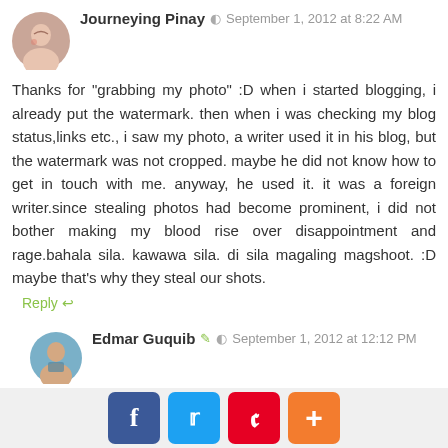[Figure (photo): Avatar photo of Journeying Pinay]
Journeying Pinay  September 1, 2012 at 8:22 AM
Thanks for "grabbing my photo" :D when i started blogging, i already put the watermark. then when i was checking my blog status,links etc., i saw my photo, a writer used it in his blog, but the watermark was not cropped. maybe he did not know how to get in touch with me. anyway, he used it. it was a foreign writer.since stealing photos had become prominent, i did not bother making my blood rise over disappointment and rage.bahala sila. kawawa sila. di sila magaling magshoot. :D maybe that's why they steal our shots.
Reply
[Figure (photo): Avatar photo of Edmar Guquib]
Edmar Guquib  September 1, 2012 at 12:12 PM
Journeying Pinay | What a kind and so sweet spirit you have there! Thanks for allowing me to "grab" your photo :)
Reply
Franc Ramon  September 1, 2012 at 1:50 PM
[Figure (infographic): Social share bar with Facebook, Twitter, Pinterest, and plus buttons]